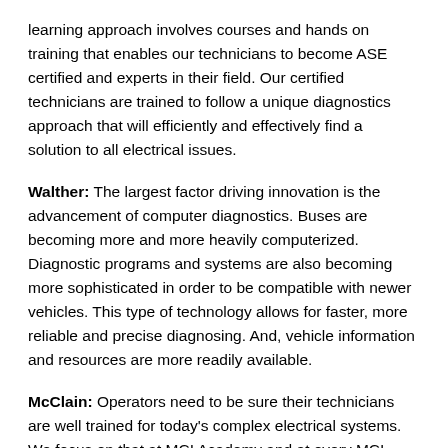learning approach involves courses and hands on training that enables our technicians to become ASE certified and experts in their field. Our certified technicians are trained to follow a unique diagnostics approach that will efficiently and effectively find a solution to all electrical issues.
Walther: The largest factor driving innovation is the advancement of computer diagnostics. Buses are becoming more and more heavily computerized. Diagnostic programs and systems are also becoming more sophisticated in order to be compatible with newer vehicles. This type of technology allows for faster, more reliable and precise diagnosing. And, vehicle information and resources are more readily available.
McClain: Operators need to be sure their technicians are well trained for today's complex electrical systems. We focus on that at MCI Academy and at every MCI Service Center.
At our Service Centers, all of our technicians are trained to a